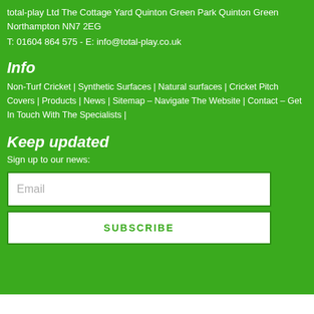total-play Ltd The Cottage Yard Quinton Green Park Quinton Green Northampton NN7 2EG
T: 01604 864 575 - E: info@total-play.co.uk
Info
Non-Turf Cricket | Synthetic Surfaces | Natural surfaces | Cricket Pitch Covers | Products | News | Sitemap – Navigate The Website | Contact – Get In Touch With The Specialists |
Keep updated
Sign up to our news:
[Figure (other): Email input field with placeholder text 'Email']
[Figure (other): Subscribe button with text 'SUBSCRIBE']